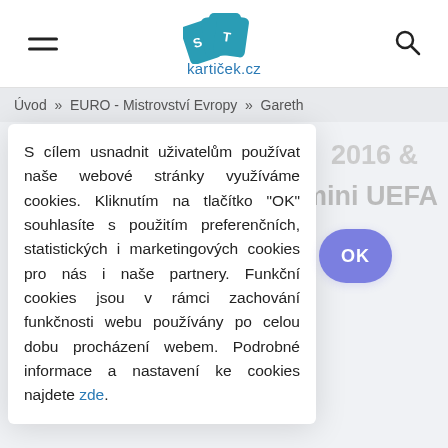[Figure (logo): Svět kartiček.cz logo with playing card icons]
Úvod » EURO - Mistrovství Evropy » Gareth
S cílem usnadnit uživatelům používat naše webové stránky využíváme cookies. Kliknutím na tlačítko "OK" souhlasíte s použitím preferenčních, statistických i marketingových cookies pro nás i naše partnery. Funkční cookies jsou v rámci zachování funkčnosti webu používány po celou dobu procházení webem. Podrobné informace a nastavení ke cookies najdete zde.